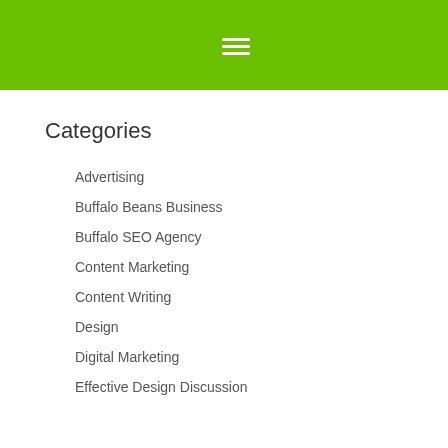Categories
Advertising
Buffalo Beans Business
Buffalo SEO Agency
Content Marketing
Content Writing
Design
Digital Marketing
Effective Design Discussion